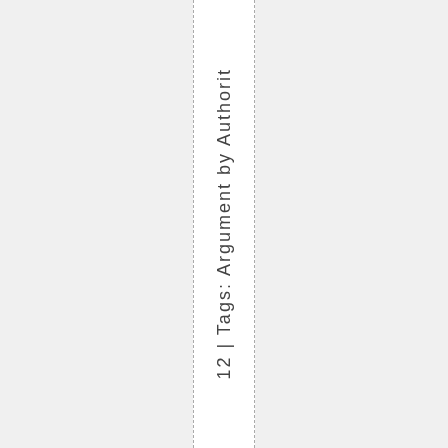12 | Tags: Argument by Authorit